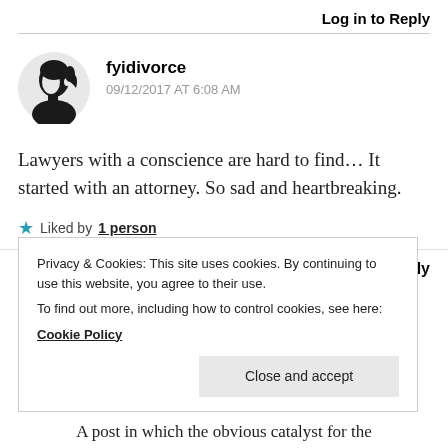Log in to Reply
fyidivorce
09/12/2017 AT 6:08 AM
Lawyers with a conscience are hard to find... It started with an attorney. So sad and heartbreaking.
Liked by 1 person
Log in to Reply
Privacy & Cookies: This site uses cookies. By continuing to use this website, you agree to their use.
To find out more, including how to control cookies, see here:
Cookie Policy
Close and accept
A post in which the obvious catalyst for the